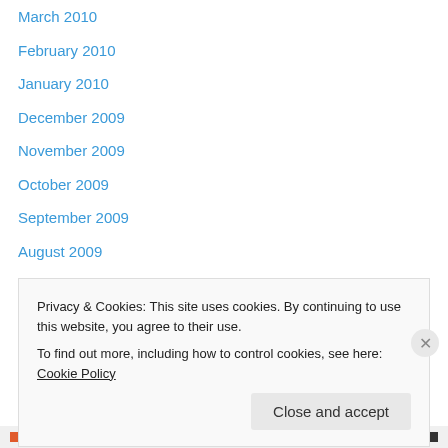March 2010
February 2010
January 2010
December 2009
November 2009
October 2009
September 2009
August 2009
July 2009
May 2009
April 2009
March 2009
February 2009
January 2009
Privacy & Cookies: This site uses cookies. By continuing to use this website, you agree to their use. To find out more, including how to control cookies, see here: Cookie Policy
Close and accept